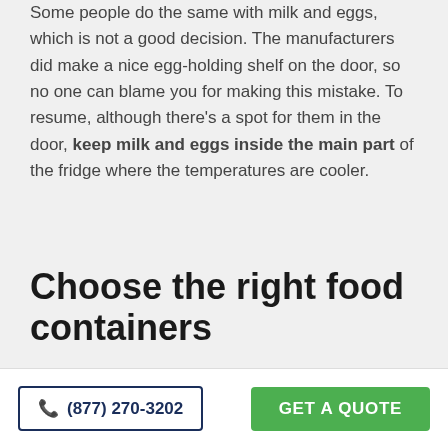Some people do the same with milk and eggs, which is not a good decision. The manufacturers did make a nice egg-holding shelf on the door, so no one can blame you for making this mistake. To resume, although there's a spot for them in the door, keep milk and eggs inside the main part of the fridge where the temperatures are cooler.
Choose the right food containers
As wise people say, our body is our temple. Furthermore, we need to be careful about what are we bringing into our temple. And in
☎ (877) 270-3202   GET A QUOTE